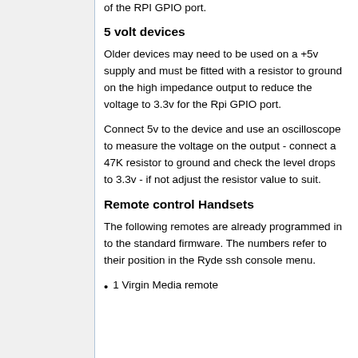of the RPI GPIO port.
5 volt devices
Older devices may need to be used on a +5v supply and must be fitted with a resistor to ground on the high impedance output to reduce the voltage to 3.3v for the Rpi GPIO port.
Connect 5v to the device and use an oscilloscope to measure the voltage on the output - connect a 47K resistor to ground and check the level drops to 3.3v - if not adjust the resistor value to suit.
Remote control Handsets
The following remotes are already programmed in to the standard firmware. The numbers refer to their position in the Ryde ssh console menu.
1 Virgin Media remote